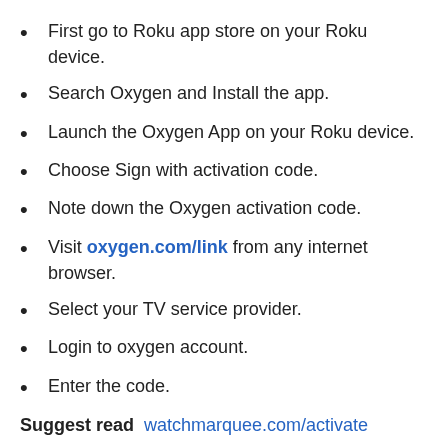First go to Roku app store on your Roku device.
Search Oxygen and Install the app.
Launch the Oxygen App on your Roku device.
Choose Sign with activation code.
Note down the Oxygen activation code.
Visit oxygen.com/link from any internet browser.
Select your TV service provider.
Login to oxygen account.
Enter the code.
Suggest read  watchmarquee.com/activate